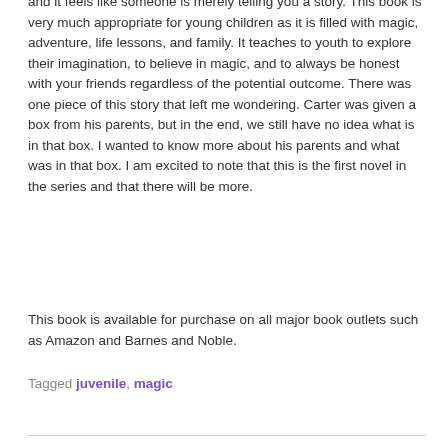and it feels like someone is merely telling you a story. This book is very much appropriate for young children as it is filled with magic, adventure, life lessons, and family. It teaches to youth to explore their imagination, to believe in magic, and to always be honest with your friends regardless of the potential outcome. There was one piece of this story that left me wondering. Carter was given a box from his parents, but in the end, we still have no idea what is in that box. I wanted to know more about his parents and what was in that box. I am excited to note that this is the first novel in the series and that there will be more.
This book is available for purchase on all major book outlets such as Amazon and Barnes and Noble.
Tagged juvenile, magic